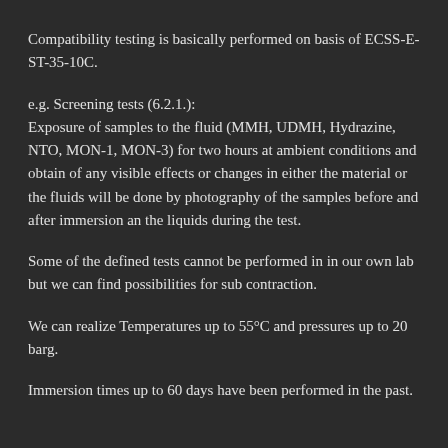Compatibility testing is basically performed on basis of ECSS-E-ST-35-10C.
e.g. Screening tests (6.2.1.):
Exposure of samples to the fluid (MMH, UDMH, Hydrazine, NTO, MON-1, MON-3) for two hours at ambient conditions and obtain of any visible effects or changes in either the material or the fluids will be done by photography of the samples before and after immersion an the liquids during the test.
Some of the defined tests cannot be performed in in our own lab but we can find possibilities for sub contraction.
We can realize Temperatures up to 55°C and pressures up to 20 barg.
Immersion times up to 60 days have been performed in the past.